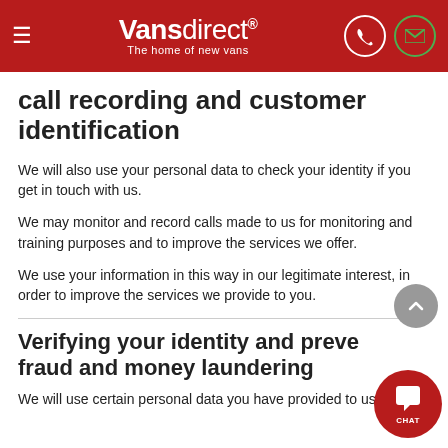Vansdirect® — The home of new vans
call recording and customer identification
We will also use your personal data to check your identity if you get in touch with us.
We may monitor and record calls made to us for monitoring and training purposes and to improve the services we offer.
We use your information in this way in our legitimate interest, in order to improve the services we provide to you.
Verifying your identity and preventing fraud and money laundering
We will use certain personal data you have provided to us